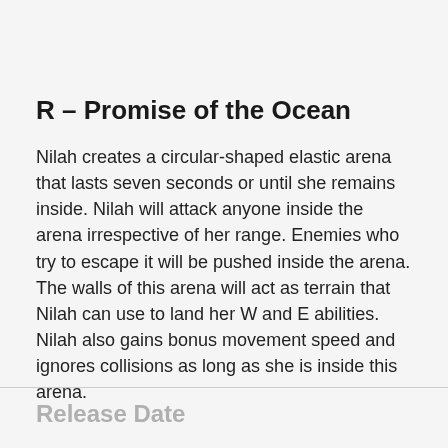R – Promise of the Ocean
Nilah creates a circular-shaped elastic arena that lasts seven seconds or until she remains inside. Nilah will attack anyone inside the arena irrespective of her range. Enemies who try to escape it will be pushed inside the arena. The walls of this arena will act as terrain that Nilah can use to land her W and E abilities. Nilah also gains bonus movement speed and ignores collisions as long as she is inside this arena.
Release Date